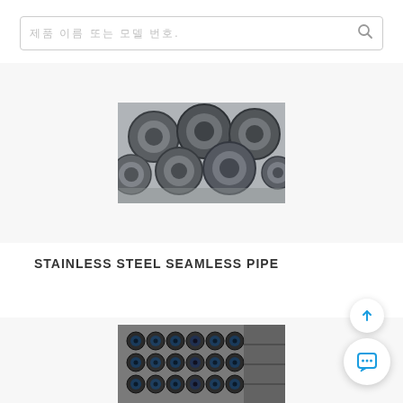제품 이름 또는 모델 번호.
[Figure (photo): Stack of large diameter stainless steel seamless pipes viewed from the ends, showing circular cross-sections, stored outdoors]
STAINLESS STEEL SEAMLESS PIPE
[Figure (photo): Stack of smaller diameter black steel seamless pipes viewed from the side and ends, bundled together]